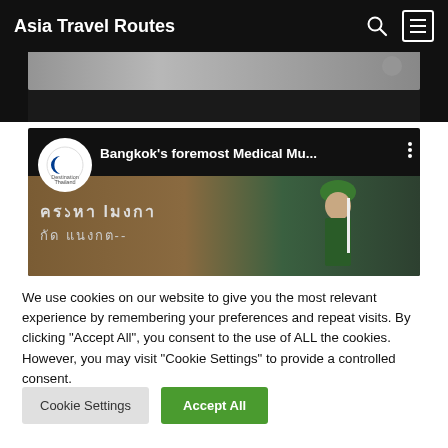Asia Travel Routes
[Figure (screenshot): Partial image strip at top of page showing a blurred scene on dark background]
[Figure (screenshot): YouTube video thumbnail showing 'Bangkok's foremost Medical Mu...' with Destination Thailand logo and a person wearing a green hat/turban, Thai script visible in background]
We use cookies on our website to give you the most relevant experience by remembering your preferences and repeat visits. By clicking "Accept All", you consent to the use of ALL the cookies. However, you may visit "Cookie Settings" to provide a controlled consent.
Cookie Settings
Accept All